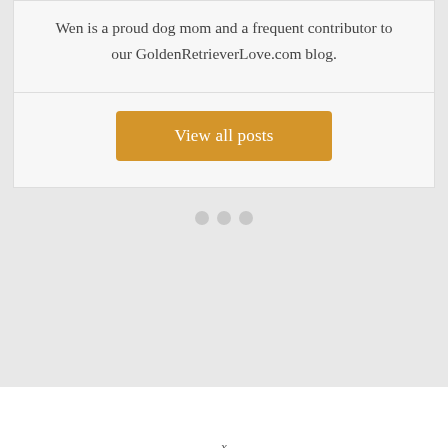Wen is a proud dog mom and a frequent contributor to our GoldenRetrieverLove.com blog.
[Figure (screenshot): Orange 'View all posts' button]
[Figure (other): Three small grey dots (loading indicator or decoration)]
x